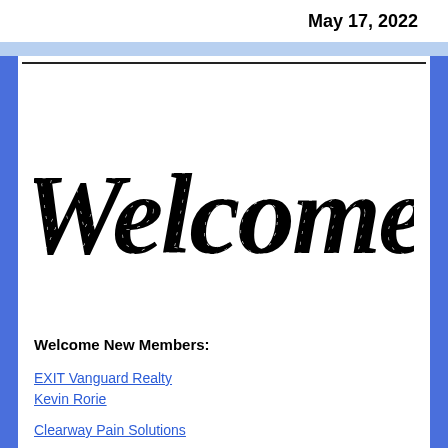May 17, 2022
[Figure (illustration): Decorative script text reading 'Welcome' in a bold brush calligraphy style]
Welcome New Members:
EXIT Vanguard Realty
Kevin Rorie
Clearway Pain Solutions